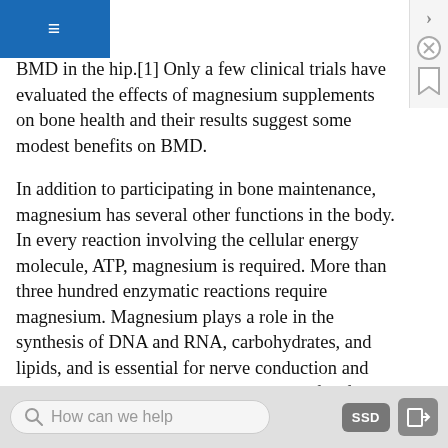d elderly women and men did show that high intakes of magnesium correlated to an increased BMD in the hip.[1] Only a few clinical trials have evaluated the effects of magnesium supplements on bone health and their results suggest some modest benefits on BMD.
In addition to participating in bone maintenance, magnesium has several other functions in the body. In every reaction involving the cellular energy molecule, ATP, magnesium is required. More than three hundred enzymatic reactions require magnesium. Magnesium plays a role in the synthesis of DNA and RNA, carbohydrates, and lipids, and is essential for nerve conduction and muscle contraction. Another health benefit of magnesium is that it may decrease blood
How can we help